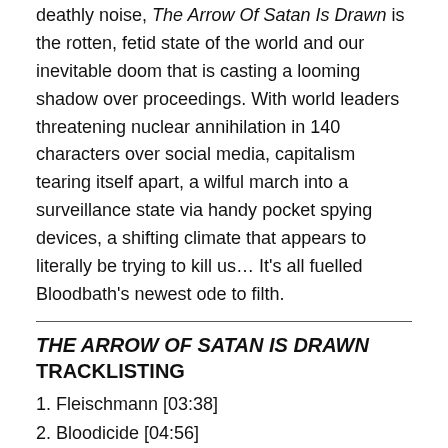deathly noise, The Arrow Of Satan Is Drawn is the rotten, fetid state of the world and our inevitable doom that is casting a looming shadow over proceedings. With world leaders threatening nuclear annihilation in 140 characters over social media, capitalism tearing itself apart, a wilful march into a surveillance state via handy pocket spying devices, a shifting climate that appears to literally be trying to kill us… It's all fuelled Bloodbath's newest ode to filth.
THE ARROW OF SATAN IS DRAWN TRACKLISTING
1. Fleischmann [03:38]
2. Bloodicide [04:56]
3. Wayward Samaritan[03:39]
4. Levitator[04:37]
5. Deader[04:06]
6. March Of The Crucifers[04:05]
7. Morbid Antichrist[04:05]